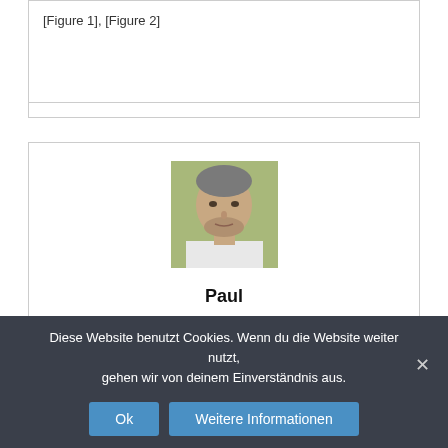[Figure 1], [Figure 2]
[Figure (photo): Portrait photo of a middle-aged man named Paul with short grey hair and a beard, wearing a white shirt, against a blurred outdoor background.]
Paul
http://www.atmph.org
Paul Mies has now been involved with test reports and comparing products for a decade. He is a highly sought-after specialist in
Diese Website benutzt Cookies. Wenn du die Website weiter nutzt, gehen wir von deinem Einverständnis aus.
Ok    Weitere Informationen